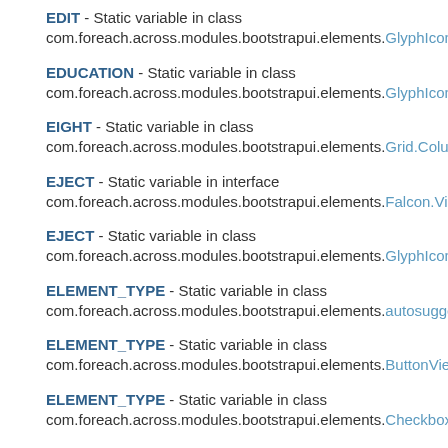EDIT - Static variable in class com.foreach.across.modules.bootstrapui.elements.GlyphIcon
EDUCATION - Static variable in class com.foreach.across.modules.bootstrapui.elements.GlyphIcon
EIGHT - Static variable in class com.foreach.across.modules.bootstrapui.elements.Grid.Colum
EJECT - Static variable in interface com.foreach.across.modules.bootstrapui.elements.Falcon.Vio
EJECT - Static variable in class com.foreach.across.modules.bootstrapui.elements.GlyphIcon
ELEMENT_TYPE - Static variable in class com.foreach.across.modules.bootstrapui.elements.autosugge
ELEMENT_TYPE - Static variable in class com.foreach.across.modules.bootstrapui.elements.ButtonVie
ELEMENT_TYPE - Static variable in class com.foreach.across.modules.bootstrapui.elements.Checkbox
ELEMENT_TYPE - Static variable in class com.foreach.across.modules.bootstrapui.elements.FileUploa
ELEMENT_TYPE - Static variable in class